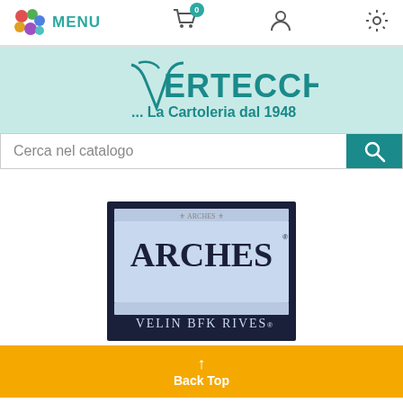[Figure (screenshot): Mobile e-commerce website header for Vertecchi cartoleria. Shows navigation bar with MENU text and logo, shopping cart icon with 0 badge, user profile icon, and settings gear icon.]
[Figure (logo): Vertecchi logo with stylized V and text 'Vertecchi ... La Cartoleria dal 1948' on a teal/mint green background banner.]
Cerca nel catalogo
[Figure (photo): Product image showing ARCHES Velin BFK Rives paper package with decorative border, dark navy background, on a white page background.]
↑ Back Top